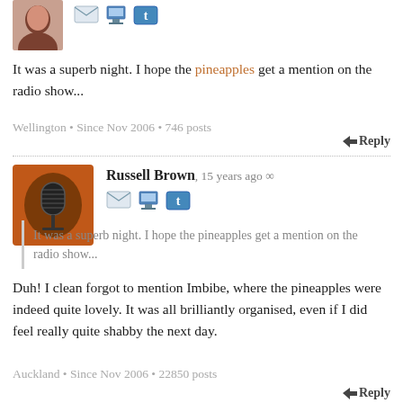[Figure (photo): Small avatar of a person with dark hair, partially visible at top]
It was a superb night. I hope the pineapples get a mention on the radio show...
Wellington • Since Nov 2006 • 746 posts
Reply
[Figure (photo): Russell Brown avatar: orange/brown microphone icon on dark orange background]
Russell Brown, 15 years ago ∞
It was a superb night. I hope the pineapples get a mention on the radio show...
Duh! I clean forgot to mention Imbibe, where the pineapples were indeed quite lovely. It was all brilliantly organised, even if I did feel really quite shabby the next day.
Auckland • Since Nov 2006 • 22850 posts
Reply
[Figure (photo): noizyboy avatar: person with glasses and dark hair]
noizyboy, 15 years ago ∞